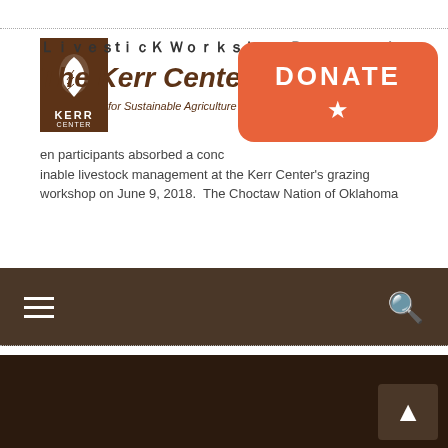[Figure (logo): The Kerr Center for Sustainable Agriculture logo - brown background with white leaf and KERR CENTER text]
The Kerr Center
for Sustainable Agriculture
[Figure (other): Orange/coral donate button with star icon]
Livestock Workshop Recap – ...
...en participants absorbed a conc... ...inable livestock management at the Kerr Center's grazing workshop on June 9, 2018. The Choctaw Nation of Oklahoma
[Figure (other): Dark brown navigation bar with hamburger menu icon and search icon]
Contact Us
[Figure (logo): The Kerr Center for Sustainable Agriculture footer logo - green background with white leaf]
The Kerr Center
for Sustainable Agriculture
24456 Kerr Road
Poteau, OK 74953
[Figure (other): Back to top arrow button]